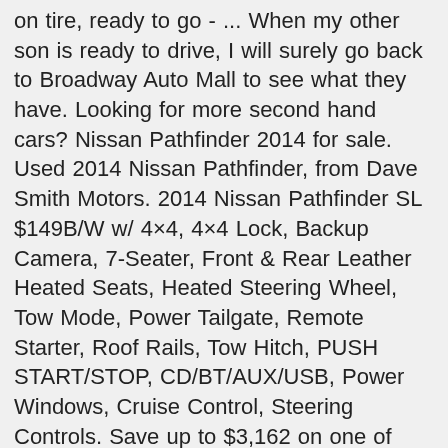on tire, ready to go - ... When my other son is ready to drive, I will surely go back to Broadway Auto Mall to see what they have. Looking for more second hand cars? Nissan Pathfinder 2014 for sale. Used 2014 Nissan Pathfinder, from Dave Smith Motors. 2014 Nissan Pathfinder SL $149B/W w/ 4×4, 4×4 Lock, Backup Camera, 7-Seater, Front & Rear Leather Heated Seats, Heated Steering Wheel, Tow Mode, Power Tailgate, Remote Starter, Roof Rails, Tow Hitch, PUSH START/STOP, CD/BT/AUX/USB, Power Windows, Cruise Control, Steering Controls. Save up to $3,162 on one of 817 used 2014 Nissan Pathfinders in Tacoma, WA. Explore Nissan Pathfinder for sale as well! TrueCar has over 893,894 listings nationwide, updated daily. This 2018 Nissan Pathfinder is for sale today in Wetaskiwin. Transmission: Automatic Color: Gray Interior Color: Black Average Vehicle Review: (4.230769230769231 reviews) 2014 Nissan Pathfinder Platinum. Save $1,425